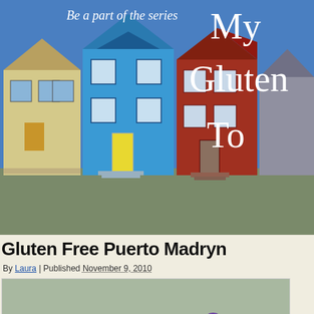[Figure (photo): Blue banner header with Victorian painted lady houses photo on left side and white text on blue background on right. Text reads 'Be a part of the series' and 'My Gluten To' (partially visible)]
Gluten Free Puerto Madryn
By Laura | Published November 9, 2010
[Figure (photo): Person in purple hat standing near a penguin on sandy terrain, captioned in handwriting 'When in the land of local...']
[Figure (photo): Partial photo of sandy/rocky beach with text below in cursive 'With an Eleph...']
Our first stop in Patagonia wa... where we spent a week. In an... little town we saw some of th...